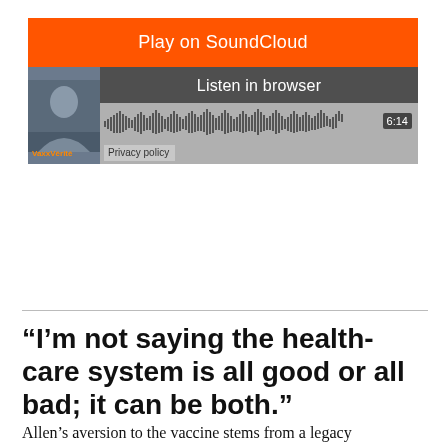[Figure (screenshot): SoundCloud embedded audio player widget with orange 'Play on SoundCloud' button, thumbnail image, 'Listen in browser' bar, waveform visualization, and duration 6:14. Privacy policy label visible at bottom left.]
“I’m not saying the health-care system is all good or all bad; it can be both.”
Allen’s aversion to the vaccine stems from a legacy